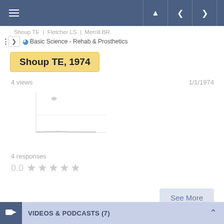Shoup TE | Fletcher LS | Merrill BR.
Basic Science - Rehab & Prosthetics
Shoup TE, 1974
4 views
1/1/1974
[Figure (line-chart): Small line chart showing minimal data, mostly flat near zero]
4 responses
0.0
★ ★ ★ ★ ★
See More
VIDEOS & PODCASTS (7)